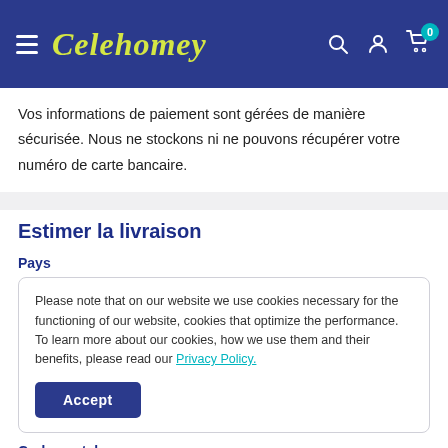Celehomey — navigation header with hamburger menu, logo, search, account, and cart icons
Vos informations de paiement sont gérées de manière sécurisée. Nous ne stockons ni ne pouvons récupérer votre numéro de carte bancaire.
Estimer la livraison
Pays
Please note that on our website we use cookies necessary for the functioning of our website, cookies that optimize the performance. To learn more about our cookies, how we use them and their benefits, please read our Privacy Policy.
Code postal